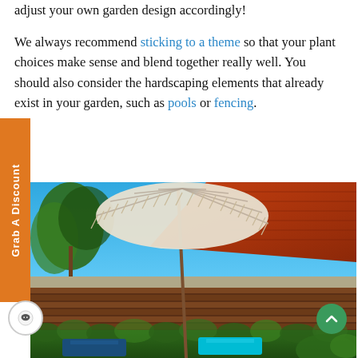adjust your own garden design accordingly!
We always recommend sticking to a theme so that your plant choices make sense and blend together really well. You should also consider the hardscaping elements that already exist in your garden, such as pools or fencing.
[Figure (photo): Outdoor garden scene with a fringed white boho-style beach umbrella, tropical palm trees, dark timber fence/deck boards, red tile roof, green hedge, and blue lounge chairs at the bottom.]